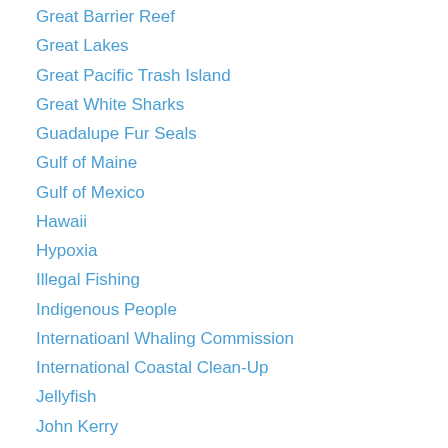Great Barrier Reef
Great Lakes
Great Pacific Trash Island
Great White Sharks
Guadalupe Fur Seals
Gulf of Maine
Gulf of Mexico
Hawaii
Hypoxia
Illegal Fishing
Indigenous People
Internatioanl Whaling Commission
International Coastal Clean-Up
Jellyfish
John Kerry
Kelp forests
Loggerhead Sea Turtles
Long Island Sound
Manatees
Mariana Trench